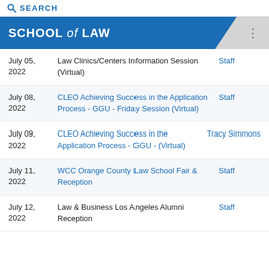SEARCH
SCHOOL of LAW
July 05, 2022 | Law Clinics/Centers Information Session (Virtual) | Staff
July 08, 2022 | CLEO Achieving Success in the Application Process - GGU - Friday Session (Virtual) | Staff
July 09, 2022 | CLEO Achieving Success in the Application Process - GGU - (Virtual) | Tracy Simmons
July 11, 2022 | WCC Orange County Law School Fair & Reception | Staff
July 12, 2022 | Law & Business Los Angeles Alumni Reception | Staff